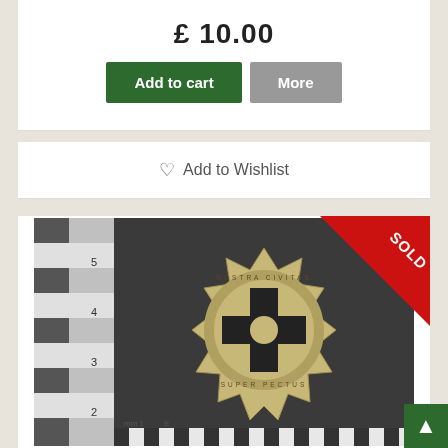£ 10.00
Add to cart | More
♡ Add to Wishlist
[Figure (photo): Product photo of a military badge/cap badge with a black cross design and text around the circumference 'NOSTRA CIVITAS SUPER', shown against a dark background with a ruler for scale. A red 'SOLD' triangle ribbon is in the top-right corner.]